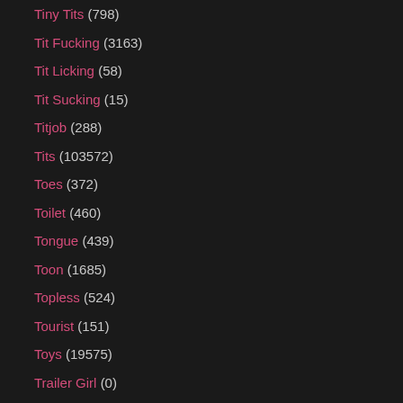Tiny Tits (798)
Tit Fucking (3163)
Tit Licking (58)
Tit Sucking (15)
Titjob (288)
Tits (103572)
Toes (372)
Toilet (460)
Tongue (439)
Toon (1685)
Topless (524)
Tourist (151)
Toys (19575)
Trailer Girl (0)
Train (276)
Trampling (58)